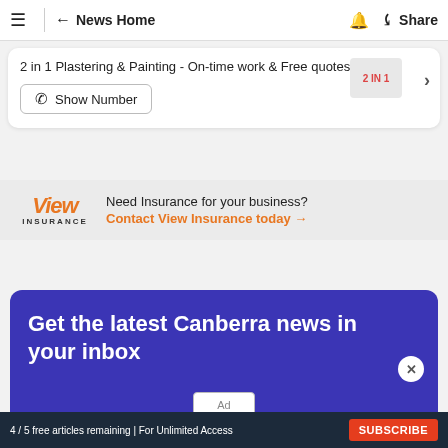≡ ← News Home 🔔 Share
2 in 1 Plastering & Painting - On-time work & Free quotes
Show Number
[Figure (logo): 2 IN 1 Plastering and Painting logo]
[Figure (logo): View Insurance logo]
Need Insurance for your business? Contact View Insurance today →
Get the latest Canberra news in your inbox
Ad
4 / 5 free articles remaining | For Unlimited Access SUBSCRIBE